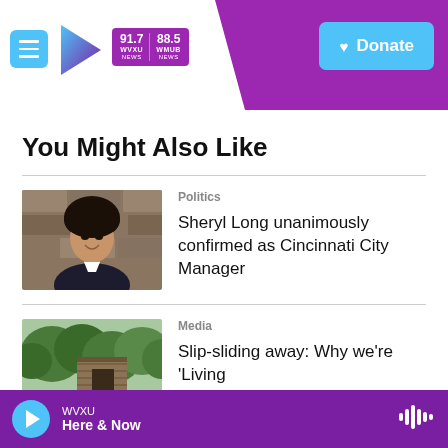WVXU 91.7 NEWS / WMUB 88.5 NEWS | Donate
You Might Also Like
[Figure (photo): Headshot of Sheryl Long, a woman with dark hair, smiling, wearing a dark blazer, standing against a stone wall background]
Politics
Sheryl Long unanimously confirmed as Cincinnati City Manager
[Figure (photo): Outdoor photo showing greenery and a wooden structure]
Media
Slip-sliding away: Why we're 'Living
WVXU Here & Now